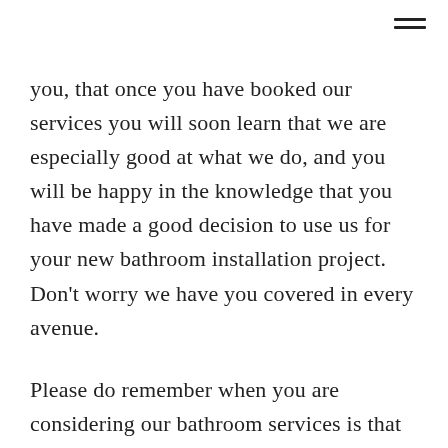you, that once you have booked our services you will soon learn that we are especially good at what we do, and you will be happy in the knowledge that you have made a good decision to use us for your new bathroom installation project. Don't worry we have you covered in every avenue.
Please do remember when you are considering our bathroom services is that our total price does include the design, supply and installation of your new bathroom and all the